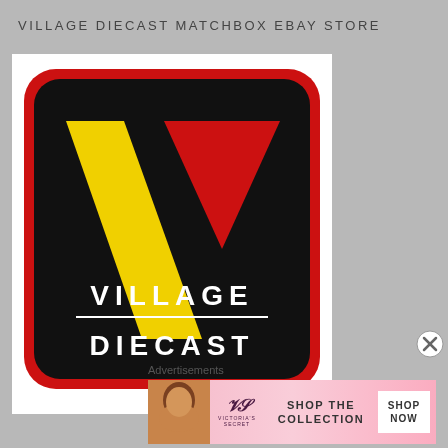VILLAGE DIECAST MATCHBOX EBAY STORE
[Figure (logo): Village Diecast logo: black rounded square with red border, yellow V shape on left, red inverted triangle on right, text VILLAGE DIECAST in white at bottom]
Advertisements
[Figure (other): Victoria's Secret advertisement banner with model photo, VS logo, 'SHOP THE COLLECTION' text, and 'SHOP NOW' button]